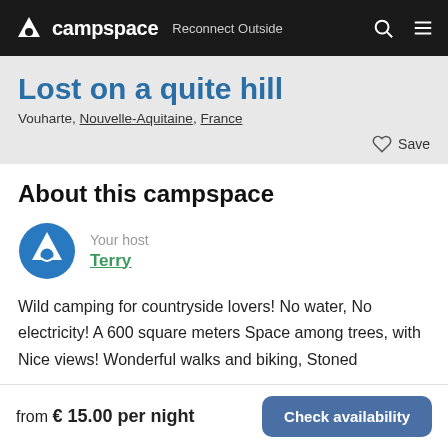campspace  Reconnect Outside
Lost on a quite hill
Vouharte, Nouvelle-Aquitaine, France
About this campspace
Your host
Terry
Wild camping for countryside lovers! No water, No electricity! A 600 square meters Space among trees, with Nice views! Wonderful walks and biking, Stoned
from € 15.00 per night    Check availability